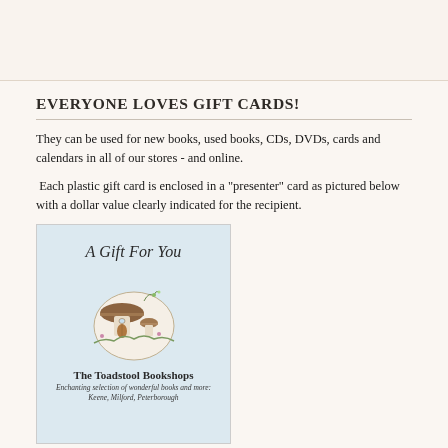EVERYONE LOVES GIFT CARDS!
They can be used for new books, used books, CDs, DVDs, cards and calendars in all of our stores - and online.
Each plastic gift card is enclosed in a "presenter" card as pictured below with a dollar value clearly indicated for the recipient.
[Figure (illustration): A gift card presenter card with light blue background showing 'A Gift For You' in italic text, an illustration of a mushroom house scene, 'The Toadstool Bookshops' name, and italic text 'Enchanting selection of wonderful books and more: Keene, Milford, Peterborough']